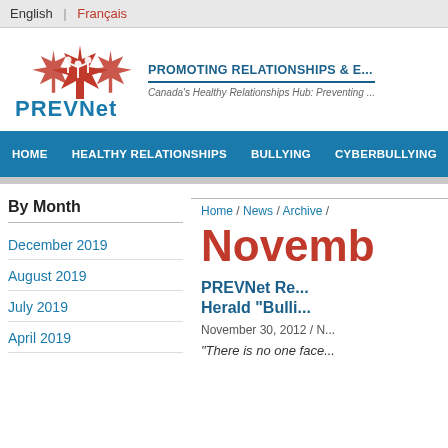English | Français
[Figure (logo): PREVNet logo with red maple leaf and people figures, with text PREVNet and tagline PROMOTING RELATIONSHIPS & E... Canada's Healthy Relationships Hub: Preventing...]
HOME  HEALTHY RELATIONSHIPS  BULLYING  CYBERBULLYING  TEEN D...
By Month
December 2019
August 2019
July 2019
April 2019
Home / News / Archive /
Novemb...
PREVNet Re... Herald "Bulli...
November 30, 2012 / N...
"There is no one face...